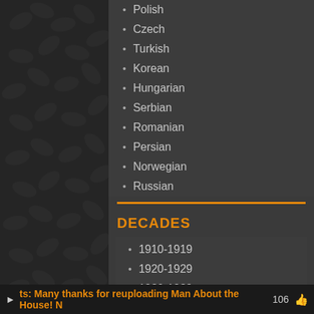Polish
Czech
Turkish
Korean
Hungarian
Serbian
Romanian
Persian
Norwegian
Russian
DECADES
1910-1919
1920-1929
1930-1939
1940-1949
1950-1959
ts: Many thanks for reuploading Man About the House! N  106